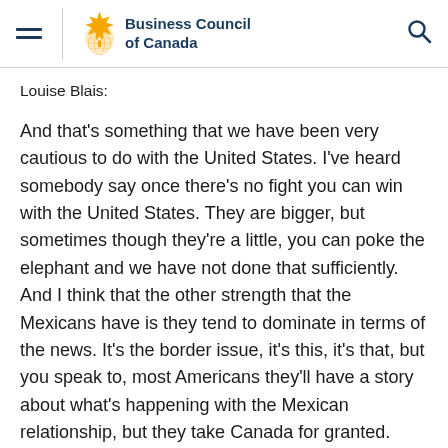Business Council of Canada
Louise Blais:
And that’s something that we have been very cautious to do with the United States. I’ve heard somebody say once there’s no fight you can win with the United States. They are bigger, but sometimes though they’re a little, you can poke the elephant and we have not done that sufficiently. And I think that the other strength that the Mexicans have is they tend to dominate in terms of the news. It’s the border issue, it’s this, it’s that, but you speak to, most Americans they’ll have a story about what’s happening with the Mexican relationship, but they take Canada for granted. We’re just not a source of trouble to the average American.